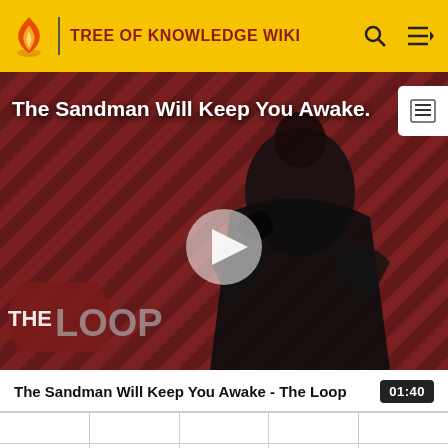TREE OF KNOWLEDGE WIKI
[Figure (screenshot): Video thumbnail showing a dark figure in a black cloak with a raven, against a diagonal striped dark red/brown background. Overlaid text reads 'The Sandman Will Keep You Awake.' with The Loop logo in bottom left and a play button in center.]
The Sandman Will Keep You Awake - The Loop  01:40
| 1990 | 1990 | 1990 | 1990 | Burma/ |